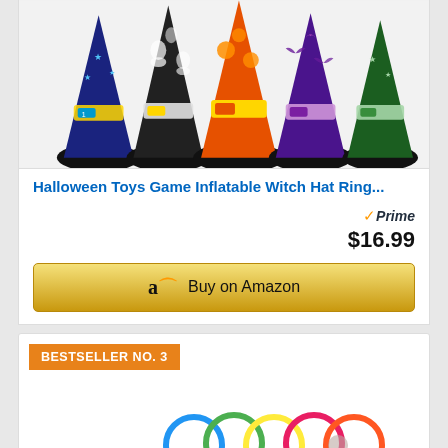[Figure (photo): Product photo of inflatable Halloween witch hats in multiple colors (blue, black with ghosts, orange with pumpkins, purple with bats, green) arranged as ring toss game targets]
Halloween Toys Game Inflatable Witch Hat Ring...
Prime $16.99
Buy on Amazon
BESTSELLER NO. 3
[Figure (photo): Halloween pumpkin ring toss game with multiple jack-o-lantern targets and colorful rings, children visible in background]